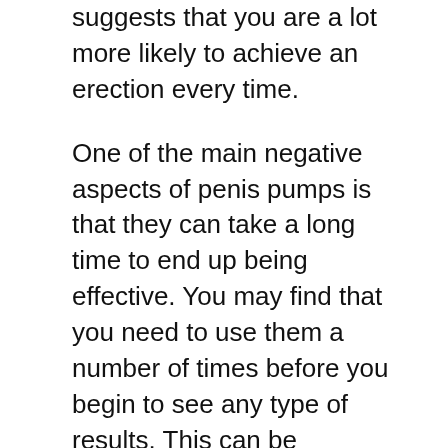suggests that you are a lot more likely to achieve an erection every time.
One of the main negative aspects of penis pumps is that they can take a long time to end up being effective. You may find that you need to use them a number of times before you begin to see any type of results. This can be irritating, especially if you are like the majority of men who only have actually restricted sources. Because of this, lots of men look in the direction of the penis pump vacuum pumps as an option.
Water-based penis pumps are an excellent selection, you additionally require to take into consideration how easy they are to clean. Since they require little moisture...